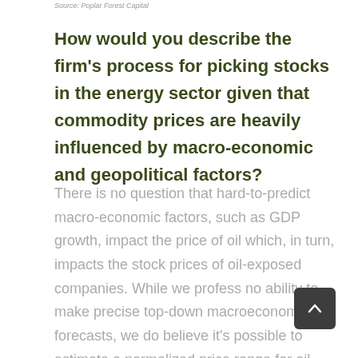Source: Poplar Forest Capital
How would you describe the firm's process for picking stocks in the energy sector given that commodity prices are heavily influenced by macro-economic and geopolitical factors?
There is no question that hard-to-predict macro-economic factors, such as GDP growth, impact the price of oil which, in turn, impacts the stock prices of oil-exposed companies. While we profess no ability to make precise top-down macroeconomic forecasts, we do believe it's possible to estimate a normalized price range for oil based on the marginal cost of production. Our